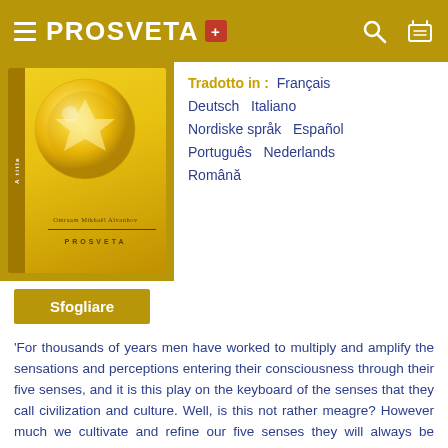PROSVETA +
[Figure (photo): Yellow book cover with crystal ball image, PROSVETA publisher]
Tradotto in : Français Deutsch Italiano Nordiske språk Español Português Nederlands Română
Sfogliare
'For thousands of years men have worked to multiply and amplify the sensations and perceptions entering their consciousness through their five senses, and it is this play on the keyboard of the senses that they call civilization and culture. Well, is this not rather meagre? However much we cultivate and refine our five senses they will always be severely limited in scope for they belong to the physical plane: they will never be capable of exploring any reality above or beyond the physical. Until human beings recognize that there are other areas that invite exploration, other dimensions to see, touch and breathe, they will never experience new, richer